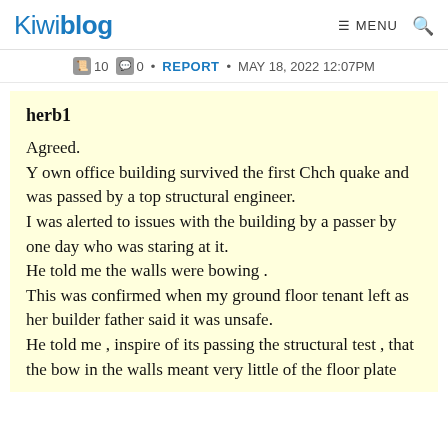Kiwiblog  ≡ MENU  🔍
🖹 10 🗨 0 • REPORT • MAY 18, 2022 12:07PM
herb1
Agreed.
Y own office building survived the first Chch quake and was passed by a top structural engineer.
I was alerted to issues with the building by a passer by one day who was staring at it.
He told me the walls were bowing .
This was confirmed when my ground floor tenant left as her builder father said it was unsafe.
He told me , inspire of its passing the structural test , that the bow in the walls meant very little of the floor plate